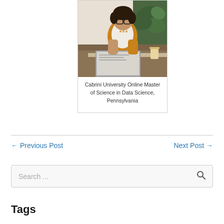[Figure (photo): Young woman with glasses working on a laptop, sitting in a room with plants in the background]
Cabrini University Online Master of Science in Data Science, Pennsylvania
← Previous Post
Next Post →
Search ...
Tags